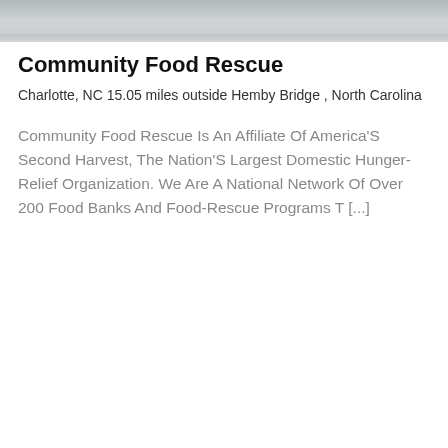[Figure (photo): Partial photo strip at top of page, showing a grey/silver surface, cropped.]
Community Food Rescue
Charlotte, NC 15.05 miles outside Hemby Bridge , North Carolina
Community Food Rescue Is An Affiliate Of America'S Second Harvest, The Nation'S Largest Domestic Hunger-Relief Organization. We Are A National Network Of Over 200 Food Banks And Food-Rescue Programs T [...]